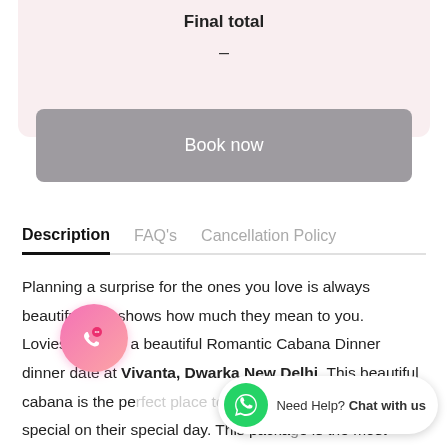Final total
-
Book now
Description    FAQ's    Cancellation Policy
Planning a surprise for the ones you love is always beautiful as it shows how much they mean to you. Loviesta brings a beautiful Romantic Cabana Dinner dinner date at Vivanta, Dwarka New Delhi. This beautiful cabana is the perfect place to surprise your loved one feel special on their special day. This package is the most suitable one as it will take you far away from the hustle-bustle
Need Help? Chat with us